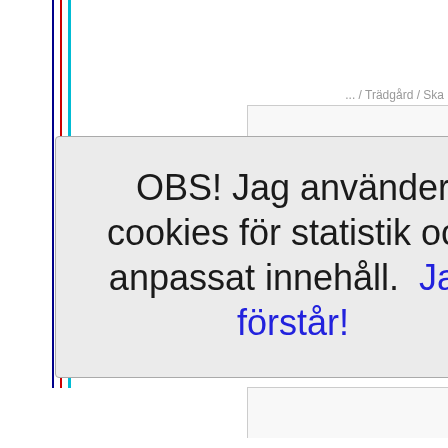... / Trädgård / Ska
OBS! Jag använder cookies för statistik och anpassat innehåll. Jag förstår!